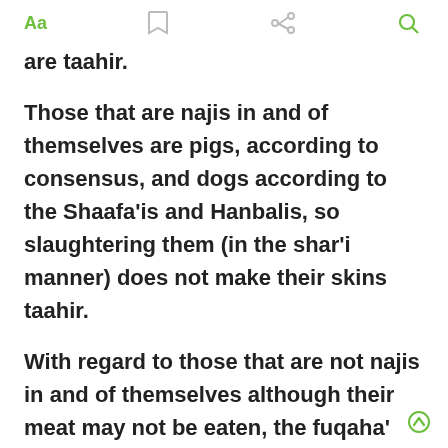Aa [bookmark] [share] [search]
are taahir.
Those that are najis in and of themselves are pigs, according to consensus, and dogs according to the Shaafa'is and Hanbalis, so slaughtering them (in the shar'i manner) does not make their skins taahir.
With regard to those that are not najis in and of themselves although their meat may not be eaten, the fuqaha' differed as to whether their skins become taahir if they are slaughtered (in the shar'i manner). The Shaafa'is and Hanbalis are of the view that they do not become taahir through slaughter. The evidence quoted by these scholars is that the